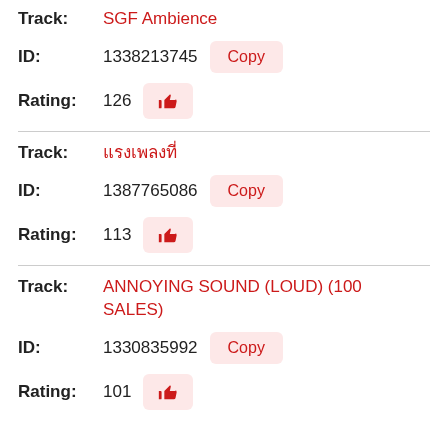Track: SGF Ambience
ID: 1338213745  Copy
Rating: 126
Track: ████████
ID: 1387765086  Copy
Rating: 113
Track: ANNOYING SOUND (LOUD) (100 SALES)
ID: 1330835992  Copy
Rating: 101